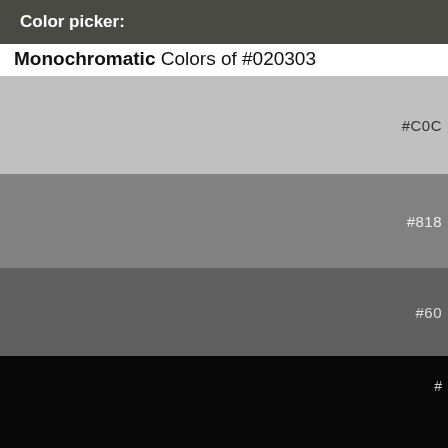Color picker:
Monochromatic Colors of #020303
[Figure (infographic): Color swatches showing monochromatic shades: #C0C (light gray), #818 (medium gray), #60 (dark gray), and three nearly black swatches]
HTML code & CSS
color css    background-co